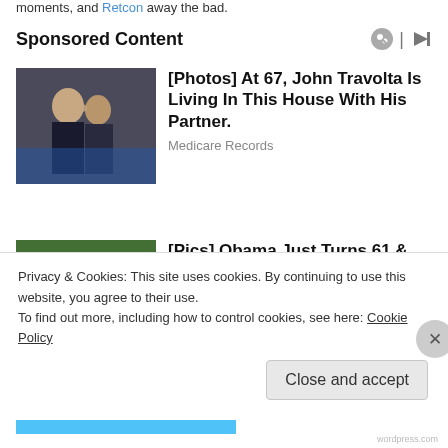moments, and Retcon away the bad.
Sponsored Content
[Figure (photo): Two men in formal wear, one kissing the other on the cheek]
[Photos] At 67, John Travolta Is Living In This House With His Partner.
Medicare Records
[Figure (photo): Family group photo outdoors with three people smiling]
[Pics] Obama Just Turns 61 & This Is The House He Lives In
BuzzAura
Privacy & Cookies: This site uses cookies. By continuing to use this website, you agree to their use.
To find out more, including how to control cookies, see here: Cookie Policy